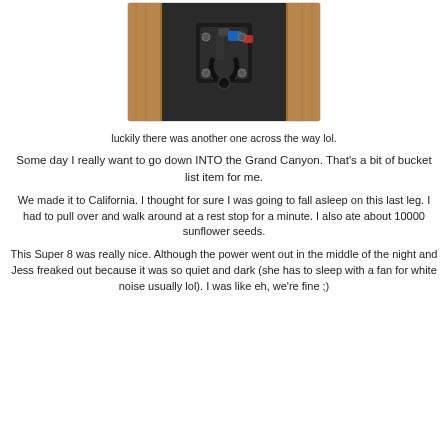[Figure (photo): A mechanical hitch or locking mechanism mounted between wooden framing, with black metal parts and blue/red accents visible.]
luckily there was another one across the way lol.
Some day I really want to go down INTO the Grand Canyon. That's a bit of bucket list item for me.
We made it to California. I thought for sure I was going to fall asleep on this last leg. I had to pull over and walk around at a rest stop for a minute. I also ate about 10000 sunflower seeds.
This Super 8 was really nice. Although the power went out in the middle of the night and Jess freaked out because it was so quiet and dark (she has to sleep with a fan for white noise usually lol). I was like eh, we're fine ;)